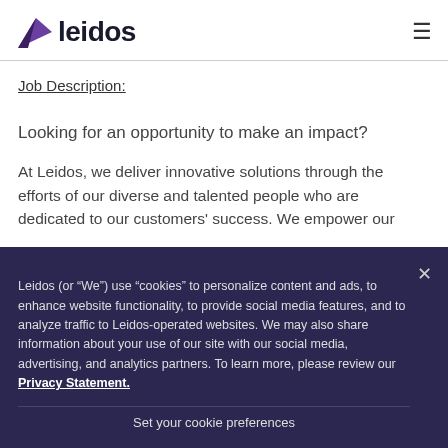[Figure (logo): Leidos company logo with purple arrow/triangle icon and bold 'leidos' wordmark]
Job Description:
Looking for an opportunity to make an impact?
At Leidos, we deliver innovative solutions through the efforts of our diverse and talented people who are dedicated to our customers' success. We empower our
Leidos (or “We”) use “cookies” to personalize content and ads, to enhance website functionality, to provide social media features, and to analyze traffic to Leidos-operated websites. We may also share information about your use of our site with our social media, advertising, and analytics partners. To learn more, please review our Privacy Statement.
Set your cookie preferences